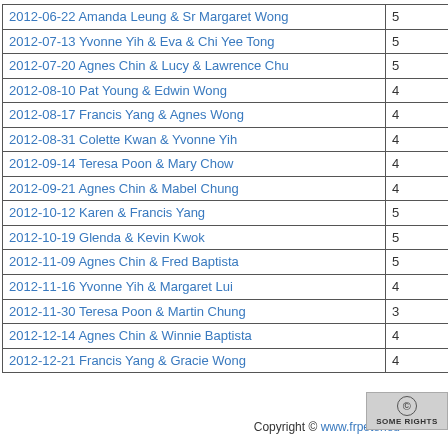|  |  |
| --- | --- |
| 2012-06-22 Amanda Leung & Sr Margaret Wong | 5 |
| 2012-07-13 Yvonne Yih & Eva & Chi Yee Tong | 5 |
| 2012-07-20 Agnes Chin & Lucy & Lawrence Chu | 5 |
| 2012-08-10 Pat Young & Edwin Wong | 4 |
| 2012-08-17 Francis Yang & Agnes Wong | 4 |
| 2012-08-31 Colette Kwan & Yvonne Yih | 4 |
| 2012-09-14 Teresa Poon & Mary Chow | 4 |
| 2012-09-21 Agnes Chin & Mabel Chung | 4 |
| 2012-10-12 Karen & Francis Yang | 5 |
| 2012-10-19 Glenda & Kevin Kwok | 5 |
| 2012-11-09 Agnes Chin & Fred Baptista | 5 |
| 2012-11-16 Yvonne Yih & Margaret Lui | 4 |
| 2012-11-30 Teresa Poon & Martin Chung | 3 |
| 2012-12-14 Agnes Chin & Winnie Baptista | 4 |
| 2012-12-21 Francis Yang & Gracie Wong | 4 |
Copyright © www.frpeterleu